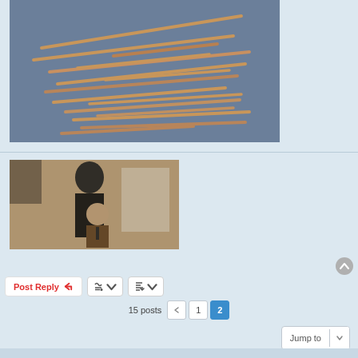[Figure (photo): Photo of wooden sticks/craft sticks scattered on a gray-blue surface]
[Figure (photo): Vintage sepia-toned photo of two people, a woman standing and a man seated, in an indoor setting]
Post Reply | toolbar icons | 15 posts | page 1 | page 2 (active) | Jump to dropdown